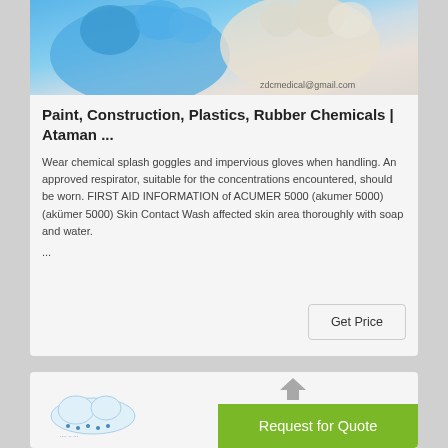[Figure (photo): Two hands with gloves (one blue latex, one white) clasped together, with email zdcmedical@gmail.com overlaid at bottom right]
Paint, Construction, Plastics, Rubber Chemicals | Ataman ...
Wear chemical splash goggles and impervious gloves when handling. An approved respirator, suitable for the concentrations encountered, should be worn. FIRST AID INFORMATION of ACUMER 5000 (akumer 5000) (akümer 5000) Skin Contact Wash affected skin area thoroughly with soap and water.
...
[Figure (logo): Company logo at bottom card]
Request for Quote